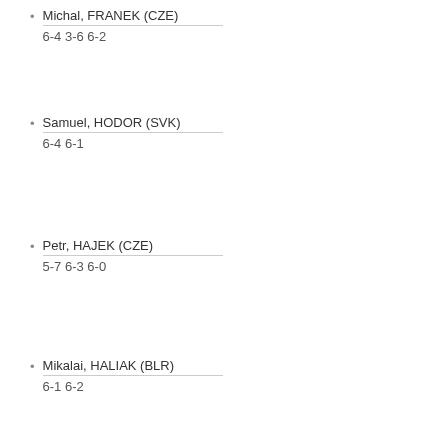Michal, FRANEK (CZE)
6-4 3-6 6-2
Samuel, HODOR (SVK)
6-4 6-1
Petr, HAJEK (CZE)
5-7 6-3 6-0
Mikalai, HALIAK (BLR)
6-1 6-2